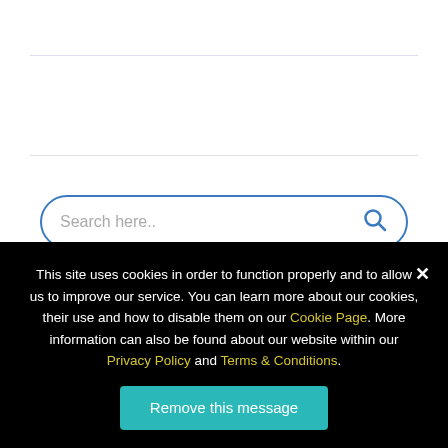[Figure (screenshot): Search bar with rounded border and blue search icon/button, placeholder text 'Search here..']
[Figure (illustration): Dark teal/blue abstract technology background image with geometric shapes and dotted arc patterns]
This site uses cookies in order to function properly and to allow us to improve our service. You can learn more about our cookies, their use and how to disable them on our Cookie Page. More information can also be found about our website within our Privacy Policy and Terms & Conditions.
Remove this message